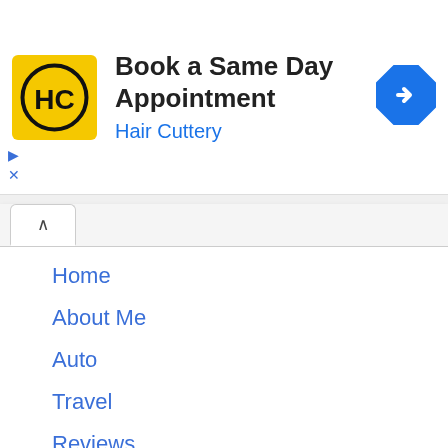[Figure (screenshot): Hair Cuttery advertisement banner with yellow square logo showing HC letters, title text 'Book a Same Day Appointment', subtitle 'Hair Cuttery' in blue, and a blue diamond navigation arrow icon on the right]
Home
About Me
Auto
Travel
Reviews
Adventure